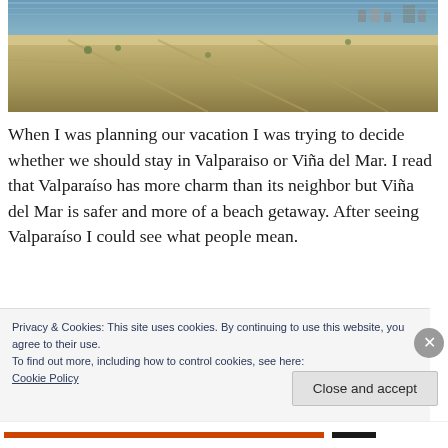[Figure (photo): Aerial view of a coastal area showing a beach, sandy terrain with paths, sparse vegetation, and buildings in the background near Viña del Mar or Valparaíso, Chile.]
When I was planning our vacation I was trying to decide whether we should stay in Valparaiso or Viña del Mar. I read that Valparaíso has more charm than its neighbor but Viña del Mar is safer and more of a beach getaway. After seeing Valparaíso I could see what people mean.
Privacy & Cookies: This site uses cookies. By continuing to use this website, you agree to their use.
To find out more, including how to control cookies, see here:
Cookie Policy
Close and accept